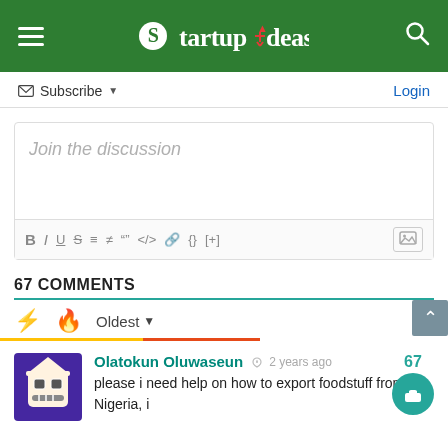Startup Ideas
Subscribe  Login
Join the discussion
67 COMMENTS
Oldest
Olatokun Oluwaseun  2 years ago
please i need help on how to export foodstuff from Nigeria, i